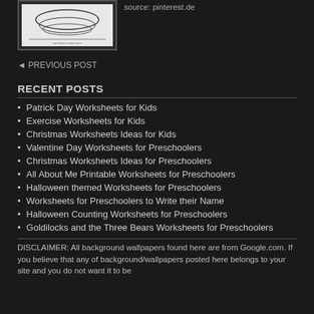[Figure (illustration): Small thumbnail image of a worksheet with oval/ellipse shapes, black and white line drawing]
source: pinterest.de
◄ PREVIOUS POST
RECENT POSTS
Patrick Day Worksheets for Kids
Exercise Worksheets for Kids
Christmas Worksheets Ideas for Kids
Valentine Day Worksheets for Preschoolers
Christmas Worksheets Ideas for Preschoolers
All About Me Printable Worksheets for Preschoolers
Halloween themed Worksheets for Preschoolers
Worksheets for Preschoolers to Write their Name
Halloween Counting Worksheets for Preschoolers
Goldilocks and the Three Bears Worksheets for Preschoolers
DISCLAIMER: All background wallpapers found here are from Google.com. If you believe that any of background/wallpapers posted here belongs to your site and you do not want it to be